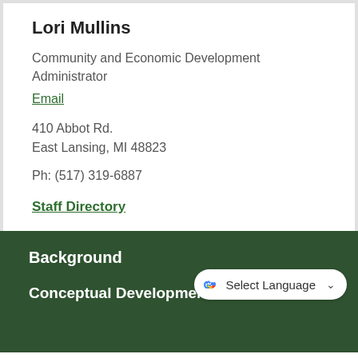Lori Mullins
Community and Economic Development Administrator
Email
410 Abbot Rd.
East Lansing, MI 48823
Ph: (517) 319-6887
Staff Directory
Background
Conceptual Development Plan